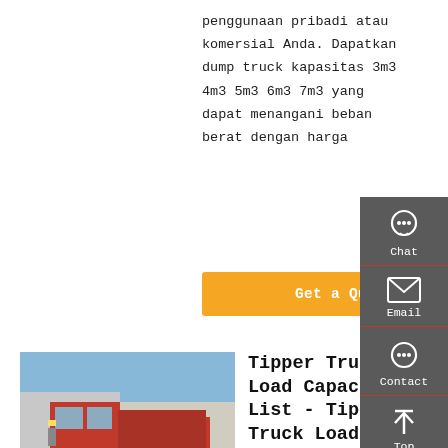penggunaan pribadi atau komersial Anda. Dapatkan dump truck kapasitas 3m3 4m3 5m3 6m3 7m3 yang dapat menangani beban berat dengan harga
Get a Quote
[Figure (photo): Red tipper/dump truck parked in an industrial yard, front-side view, against a building with blue sky]
Tipper Truck Load Capacity List - Tipper Truck Load
Tipper Dump Truck 60-80 Ton Dumper with Good